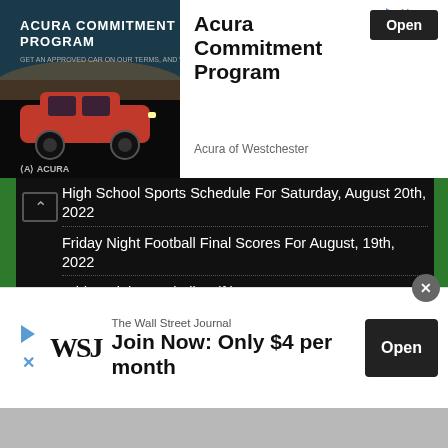[Figure (infographic): Acura Commitment Program advertisement banner with Acura SUV car on dark background]
Acura Commitment Program
Acura of Westchester
High School Sports Schedule For Saturday, August 20th, 2022
Friday Night Football Final Scores For August, 19th, 2022
Friday Night Football Halftime Scores
Evergreen Fall Sports Media Day (Photo Album)
EDGERTON SCHOOL BOARD: New Board Member Bill
[Figure (infographic): Wall Street Journal advertisement: Join Now: Only $4 per month, with Open button]
The Wall Street Journal
Join Now: Only $4 per month